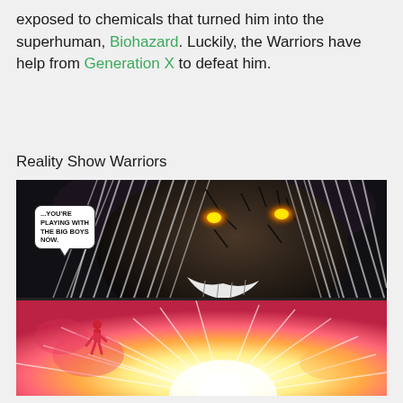exposed to chemicals that turned him into the superhuman, Biohazard. Luckily, the Warriors have help from Generation X to defeat him.
Reality Show Warriors
[Figure (illustration): Two-panel comic book illustration. Top panel shows a close-up of a monstrous villain with long white hair, glowing orange eyes, cracked dark skin, and a sinister grin. A speech bubble reads '...YOU'RE PLAYING WITH THE BIG BOYS NOW.' Bottom panel shows a bright energy explosion with a small figure in red being blasted away amid bright white, yellow, orange, and pink light rays.]